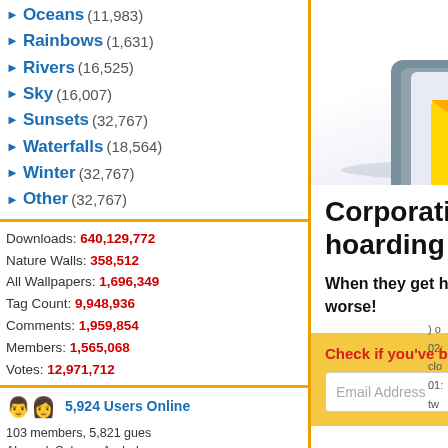Oceans (11,983)
Rainbows (1,631)
Rivers (16,525)
Sky (16,007)
Sunsets (32,767)
Waterfalls (18,564)
Winter (32,767)
Other (32,767)
Downloads: 640,129,772
Nature Walls: 358,512
All Wallpapers: 1,696,349
Tag Count: 9,948,936
Comments: 1,959,854
Members: 1,565,068
Votes: 12,971,712
5,924 Users Online
103 members, 5,821 guests
AlvaradoSulwen, Anderlec artinconstruction, Astro, BestPsychic000, bmpressurewashing2, Boa boliou, brandbajade, bridgecounseling, brighten CarrollDentistry, cell-phone hacking, chatonfragile, Cleaners567, ColbyRichar cortez68341, crypticpixels cupidc657, deborahhinkley doyleplumbinggroup, drive duanvinhomescom, dubm enailvietnam, erahobb,
[Figure (illustration): Illustration of a hacker stealing data from a computer with an envelope and warning sign]
Corporations are recklessly hoarding your sensitive data!
When they get hacked, you're at risk of identity theft or worse!
Check if you've been compromised:
Email Address
FREE SCAN